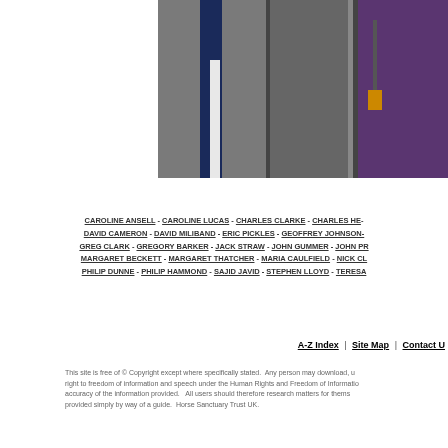[Figure (photo): Photo of people in formal attire — suits visible, one person wearing purple, partially cropped at top of page]
CAROLINE ANSELL - CAROLINE LUCAS - CHARLES CLARKE - CHARLES HE... DAVID CAMERON - DAVID MILIBAND - ERIC PICKLES - GEOFFREY JOHNSON-... GREG CLARK - GREGORY BARKER - JACK STRAW - JOHN GUMMER - JOHN PR... MARGARET BECKETT - MARGARET THATCHER - MARIA CAULFIELD - NICK CL... PHILIP DUNNE - PHILIP HAMMOND - SAJID JAVID - STEPHEN LLOYD - TERESA...
A-Z Index  |  Site Map  |  Contact U...
This site is free of © Copyright except where specifically stated. Any person may download, u... right to freedom of information and speech under the Human Rights and Freedom of Informatio... accuracy of the information provided. All users should therefore research matters for thems... provided simply by way of a guide. Horse Sanctuary Trust UK.